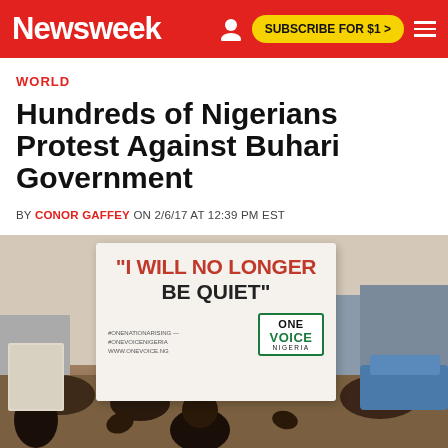Newsweek — SUBSCRIBE FOR $1 >
WORLD
Hundreds of Nigerians Protest Against Buhari Government
BY CONOR GAFFEY ON 2/6/17 AT 12:39 PM EST
[Figure (photo): A protester holding up a white sign reading '"I WILL NO LONGER BE QUIET"' with a One Voice Nigeria logo in the bottom right corner. The sign is held up in a street scene with a crowd in the background.]